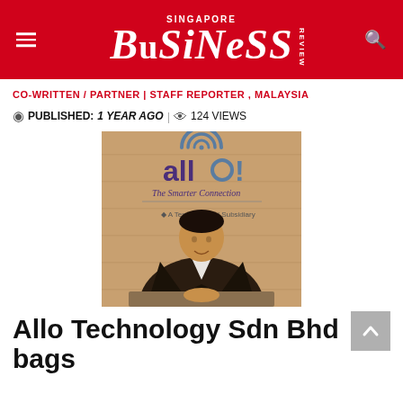SINGAPORE BUSINESS REVIEW
CO-WRITTEN / PARTNER | STAFF REPORTER , MALAYSIA
PUBLISHED:  1 YEAR AGO|  124 VIEWS
[Figure (photo): A man in a black blazer and white shirt sitting at a desk in front of an 'allo! The Smarter Connection' branded wall, which also reads 'A Tena...onal Subsidiary']
Allo Technology Sdn Bhd bags